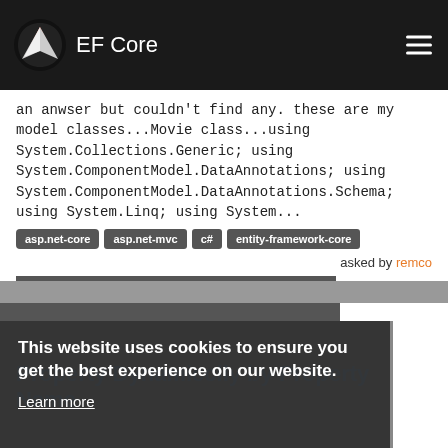EF Core
an anwser but couldn't find any. these are my model classes...Movie class...using System.Collections.Generic; using System.ComponentModel.DataAnnotations; using System.ComponentModel.DataAnnotations.Schema; using System.Linq; using System...
asp.net-core
asp.net-mvc
c#
entity-framework-core
asked by remco
This website uses cookies to ensure you get the best experience on our website. Learn more
Property Dynamicclly by Property Name
I have an OnPost method that is specific to updating
async Task OnPostStatus() { Status ExistingRecord =